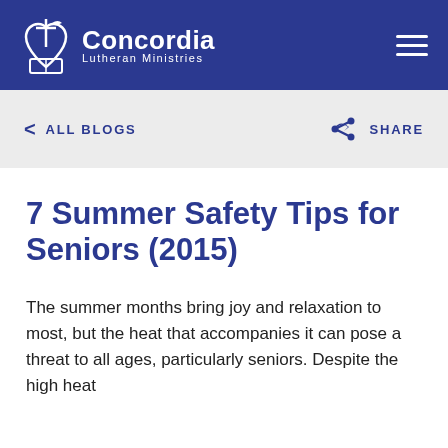Concordia Lutheran Ministries
< ALL BLOGS    SHARE
7 Summer Safety Tips for Seniors (2015)
The summer months bring joy and relaxation to most, but the heat that accompanies it can pose a threat to all ages, particularly seniors. Despite the high heat